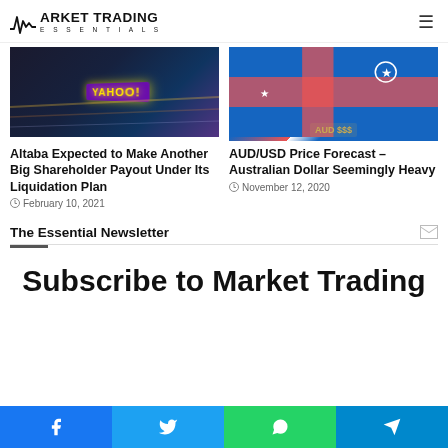MARKET TRADING ESSENTIALS
[Figure (photo): Yahoo billboard sign at night with light trails]
Altaba Expected to Make Another Big Shareholder Payout Under Its Liquidation Plan
February 10, 2021
[Figure (photo): Australian dollar bills rolled up on Australian flag background]
AUD/USD Price Forecast – Australian Dollar Seemingly Heavy
November 12, 2020
The Essential Newsletter
Subscribe to Market Trading